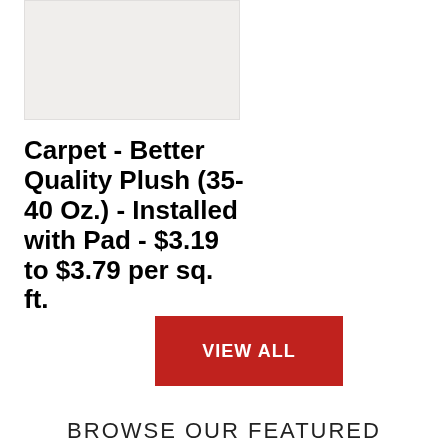[Figure (photo): Product image placeholder - light gray/white rectangle for carpet product]
Carpet - Better Quality Plush (35-40 Oz.) - Installed with Pad - $3.19 to $3.79 per sq. ft.
VIEW ALL
BROWSE OUR FEATURED